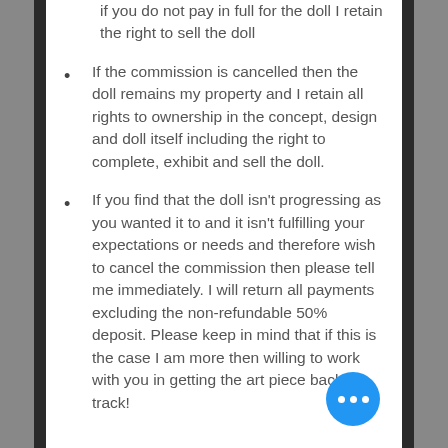if you do not pay in full for the doll I retain the right to sell the doll
If the commission is cancelled then the doll remains my property and I retain all rights to ownership in the concept, design and doll itself including the right to complete, exhibit and sell the doll.
If you find that the doll isn't progressing as you wanted it to and it isn't fulfilling your expectations or needs and therefore wish to cancel the commission then please tell me immediately. I will return all payments excluding the non-refundable 50% deposit. Please keep in mind that if this is the case I am more then willing to work with you in getting the art piece back on track!